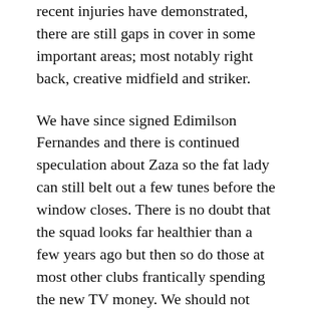recent injuries have demonstrated, there are still gaps in cover in some important areas; most notably right back, creative midfield and striker.
We have since signed Edimilson Fernandes and there is continued speculation about Zaza so the fat lady can still belt out a few tunes before the window closes. There is no doubt that the squad looks far healthier than a few years ago but then so do those at most other clubs frantically spending the new TV money. We should not need to be in a position of asking players to be ‘humble’ and play out of position any more. Keeping everyone happy, however, might be the new challenge.